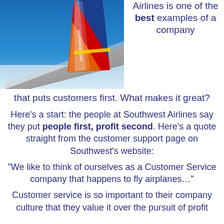[Figure (photo): Southwest Airlines plane wing with orange and blue tail fin showing SOUTHWEST.COM logo, photographed from above clouds with blue sky background.]
Airlines is one of the best examples of a company that puts customers first. What makes it great?
Here's a start: the people at Southwest Airlines say they put people first, profit second. Here's a quote straight from the customer support page on Southwest's website:
“We like to think of ourselves as a Customer Service company that happens to fly airplanes…”
Customer service is so important to their company culture that they value it over the pursuit of profit